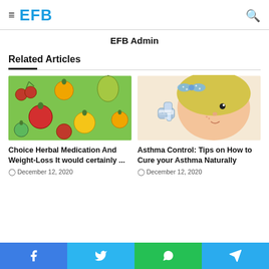EFB
EFB Admin
Related Articles
[Figure (illustration): Illustration of various colorful fruits including apples, oranges, cherries, and pears on a green background]
Choice Herbal Medication And Weight-Loss It would certainly ...
December 12, 2020
[Figure (illustration): Cartoon illustration of a blonde girl using an asthma inhaler, with polka-dot hair bow]
Asthma Control: Tips on How to Cure your Asthma Naturally
December 12, 2020